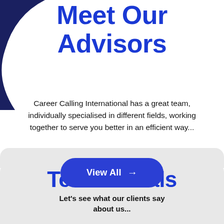Meet Our Advisors
Career Calling International has a great team, individually specialised in different fields, working together to serve you better in an efficient way...
View All →
Testimonials
Let's see what our clients say about us...